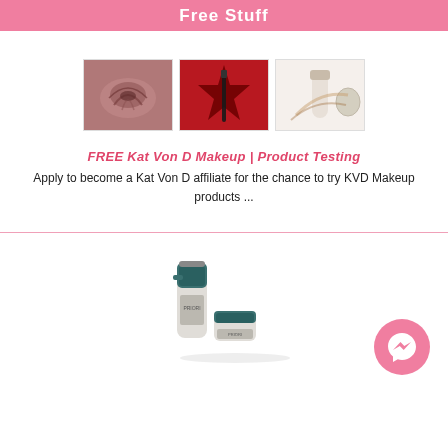Free Stuff
[Figure (photo): Three product images side by side: mauve/rose-toned cosmetic product, red star-shaped dark eye pencil on red background, and skincare products on white background]
FREE Kat Von D Makeup | Product Testing
Apply to become a Kat Von D affiliate for the chance to try KVD Makeup products ...
[Figure (photo): Two skincare product bottles/containers (teal and grey) on white background]
[Figure (illustration): Pink circular Facebook Messenger chat button]